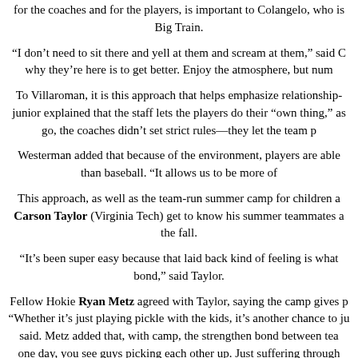for the coaches and for the players, is important to Colangelo, who is Big Train.
“I don’t need to sit there and yell at them and scream at them,” said C why they’re here is to get better. Enjoy the atmosphere, but num
To Villaroman, it is this approach that helps emphasize relationship- junior explained that the staff lets the players do their “own thing,” as go, the coaches didn’t set strict rules—they let the team p
Westerman added that because of the environment, players are able than baseball. “It allows us to be more of
This approach, as well as the team-run summer camp for children a Carson Taylor (Virginia Tech) get to know his summer teammates a the fall.
“It’s been super easy because that laid back kind of feeling is what bond,” said Taylor.
Fellow Hokie Ryan Metz agreed with Taylor, saying the camp gives p “Whether it’s just playing pickle with the kids, it’s another chance to ju said. Metz added that, with camp, the strengthen bond between tea one day, you see guys picking each other up. Just suffering through we’re working a double-shift or whatever, you’re picking each o
A.J. Lee felt the same way, adding that the atmosphere speaks to th thing to have guys that you feel comfortable with at the field,” said Le just makes it seem that much closer. It creates that bond that many ot
That bond is evident on the field, with players joking around in the d other after hits and encouraging each other through slumps. Some pl